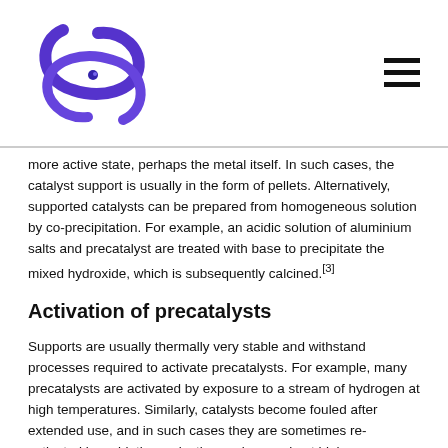[Logo and navigation header]
more active state, perhaps the metal itself. In such cases, the catalyst support is usually in the form of pellets. Alternatively, supported catalysts can be prepared from homogeneous solution by co-precipitation. For example, an acidic solution of aluminium salts and precatalyst are treated with base to precipitate the mixed hydroxide, which is subsequently calcined.[3]
Activation of precatalysts
Supports are usually thermally very stable and withstand processes required to activate precatalysts. For example, many precatalysts are activated by exposure to a stream of hydrogen at high temperatures. Similarly, catalysts become fouled after extended use, and in such cases they are sometimes re-activated by oxidation-reduction cycles, again at high temperatures. The Phillips catalyst, consisting of chromium oxide supported on silica, is activated by a stream of hot air.[4]
Interactions of catalyst and support